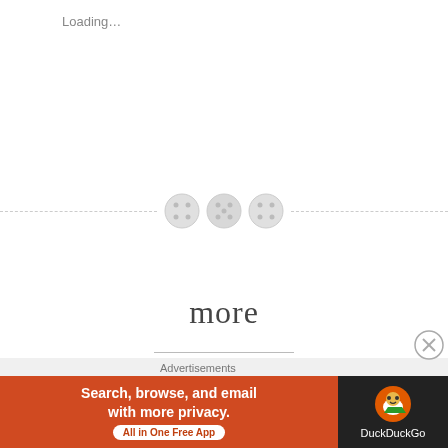Loading…
[Figure (illustration): Decorative divider with three button icons on a dashed horizontal line]
more
March 2, 2022 · Leave a comment
i forgot
to lock the door
to my heart
Advertisements
[Figure (screenshot): DuckDuckGo advertisement banner: Search, browse, and email with more privacy. All in One Free App.]